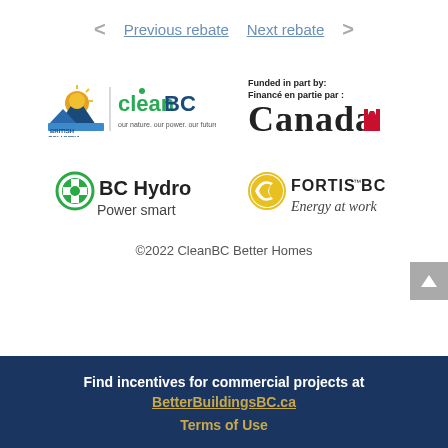< Previous rebate   Next rebate >
[Figure (logo): British Columbia CleanBC logo - our nature. our power. our future.]
[Figure (logo): Funded in part by / Financé en partie par : Canada wordmark with maple leaf flag]
[Figure (logo): BC Hydro Power smart logo with green circular icon]
[Figure (logo): FortisBC Energy at work logo with yellow swoosh icon]
©2022 CleanBC Better Homes
Find incentives for commercial projects at BetterBuildingsBC.ca
Terms of Use